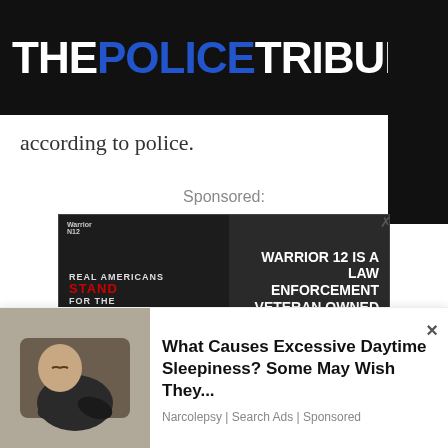THE POLICE TRIBUNE
according to police.
Sponsored:
[Figure (photo): Advertisement for Warrior 12, a law enforcement veteran owned company, showing a black t-shirt with text 'REAL AMERICANS STAND FOR THE FLAG TO HONOR THOSE WHO DIED FOR IT' alongside text 'WARRIOR 12 IS A LAW ENFORCEMENT VETERAN OWNED COMPANY' and a 'SHOP NOW' button.]
“There are far too many guns illegally
[Figure (photo): Bottom overlay advertisement showing an elderly man sleeping in a chair next to text 'What Causes Excessive Daytime Sleepiness? Some May Wish They...' sourced from 'Narcolepsy | Search Ads | Sponsored']